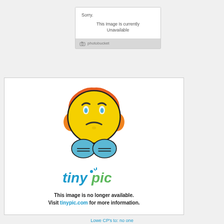[Figure (screenshot): Photobucket placeholder image showing 'Sorry. This Image Is currently Unavailable' with photobucket branding]
[Figure (screenshot): TinyPic placeholder image with cartoon angry emoji face wearing headphones, tinypic logo, and text 'This image is no longer available. Visit tinypic.com for more information.']
Lowe CP's to: no one